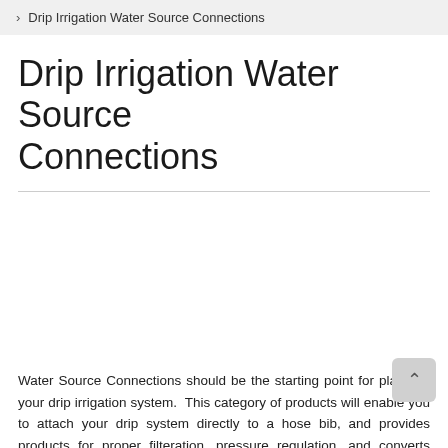> Drip Irrigation Water Source Connections
Drip Irrigation Water Source Connections
[Figure (photo): Image placeholder area for drip irrigation water source connection product images]
Water Source Connections should be the starting point for planning your drip irrigation system. This category of products will enable you to attach your drip system directly to a hose bib, and provides products for proper filteration, pressure regulation, and converts hose fittings to drip irrigation hose fittings. The flow chart below illustrates the order of product installation commonly found on drip systems.